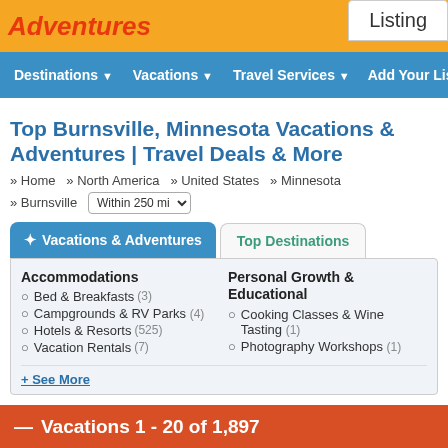Adventures | Listing
Destinations ▼   Vacations ▼   Travel Services ▼   Add Your Listing
Top Burnsville, Minnesota Vacations & Adventures | Travel Deals & More
» Home  » North America  » United States  » Minnesota  » Burnsville  Within 250 mi
✦ Vacations & Adventures
Top Destinations
Accommodations
Bed & Breakfasts (3)
Campgrounds & RV Parks (4)
Hotels & Resorts (525)
Vacation Rentals (7)
Personal Growth & Educational
Cooking Classes & Wine Tasting (1)
Photography Workshops (1)
+ See More
— Vacations 1 - 20 of 1,897